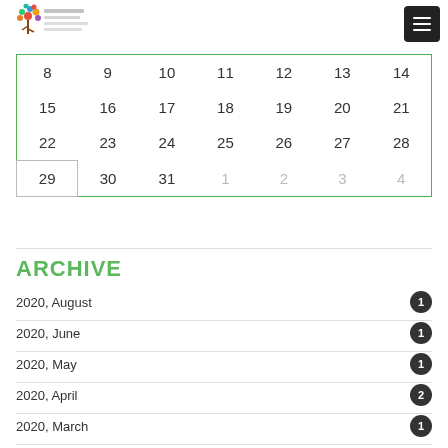[Figure (logo): Colorful tree logo with Arabic and English text]
| 8 | 9 | 10 | 11 | 12 | 13 | 14 |
| 15 | 16 | 17 | 18 | 19 | 20 | 21 |
| 22 | 23 | 24 | 25 | 26 | 27 | 28 |
| 29 | 30 | 31 | 1 | 2 | 3 | 4 |
ARCHIVE
2020, August 1
2020, June 1
2020, May 1
2020, April 2
2020, March 1
2019, October 2